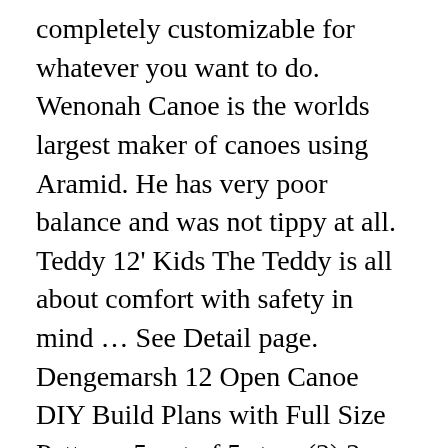completely customizable for whatever you want to do. Wenonah Canoe is the worlds largest maker of canoes using Aramid. He has very poor balance and was not tippy at all. Teddy 12' Kids The Teddy is all about comfort with safety in mind … See Detail page. Dengemarsh 12 Open Canoe DIY Build Plans with Full Size Patterns 5 out of 5 stars (2) 2 product ratings - Dengemarsh 12 Open Canoe DIY Build Plans with Full Size Patterns Tough as nails. It tracks well yet steers easily due to its length. D iscover some of the best canoes of the year from Nova Craft, Sea Eagle, Old Town, Swift, Mad River and Wenonah. This 12' long version is more suitable for regular size paddlers. Wade into your next outdoor